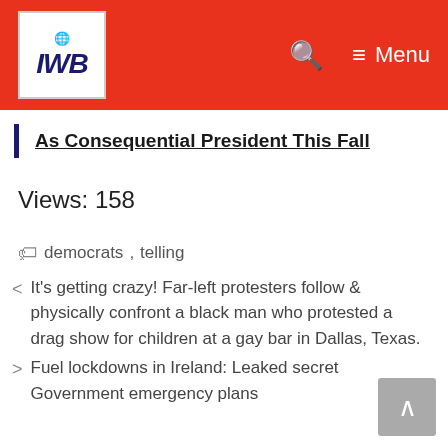[Figure (logo): IWB logo with globe icon on white background in red navigation bar]
IWB — Menu
As Consequential President This Fall
Views: 158
democrats, telling
It's getting crazy! Far-left protesters follow & physically confront a black man who protested a drag show for children at a gay bar in Dallas, Texas.
Fuel lockdowns in Ireland: Leaked secret Government emergency plans